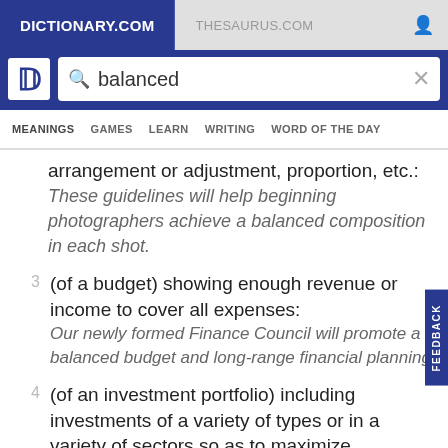DICTIONARY.COM | THESAURUS.COM
[Figure (screenshot): Dictionary.com website header with search bar showing 'balanced' and navigation menu with MEANINGS, GAMES, LEARN, WRITING, WORD OF THE DAY]
arrangement or adjustment, proportion, etc.:
These guidelines will help beginning photographers achieve a balanced composition in each shot.
3  (of a budget) showing enough revenue or income to cover all expenses: Our newly formed Finance Council will promote a balanced budget and long-range financial planning.
4  (of an investment portfolio) including investments of a variety of types or in a variety of sectors so as to maximize